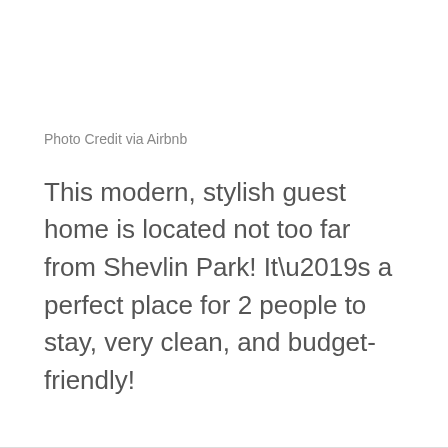Photo Credit via Airbnb
This modern, stylish guest home is located not too far from Shevlin Park! It’s a perfect place for 2 people to stay, very clean, and budget-friendly!